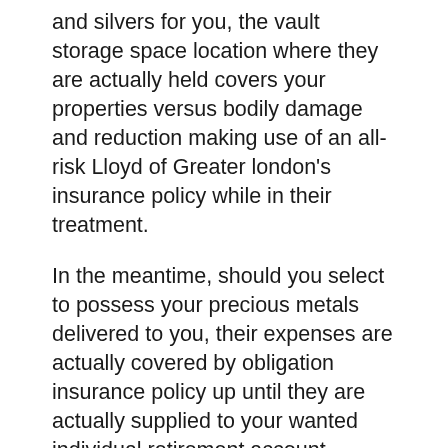and silvers for you, the vault storage space location where they are actually held covers your properties versus bodily damage and reduction making use of an all-risk Lloyd of Greater london's insurance policy while in their treatment.
In the meantime, should you select to possess your precious metals delivered to you, their expenses are actually covered by obligation insurance policy up until they are actually supplied to your wanted individual retirement account storage establishment. Map of Augusta Precious Metals Storage Facilities.
Gold and silvers in a self-reliant gold individual retirement account have to be actually stored in an appropriate storing